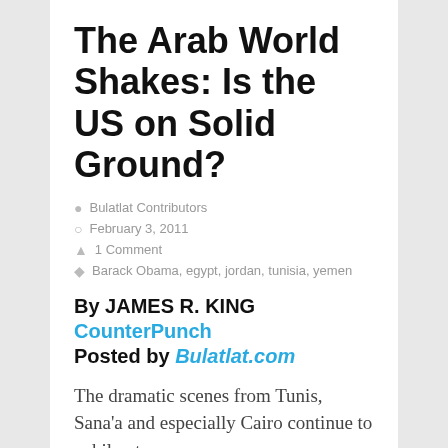The Arab World Shakes: Is the US on Solid Ground?
Bulatlat Contributors
February 3, 2011
1 Comment
Barack Obama, egypt, jordan, tunisia, yemen
By JAMES R. KING CounterPunch Posted by Bulatlat.com
The dramatic scenes from Tunis, Sana'a and especially Cairo continue to exhilarate